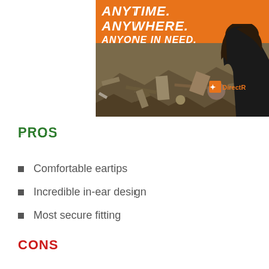[Figure (photo): Photo of a person in a black jacket with a DirectR logo, standing in front of a debris field. Orange banner at top reads ANYTIME. ANYWHERE. ANYONE IN NEED.]
PROS
Comfortable eartips
Incredible in-ear design
Most secure fitting
CONS